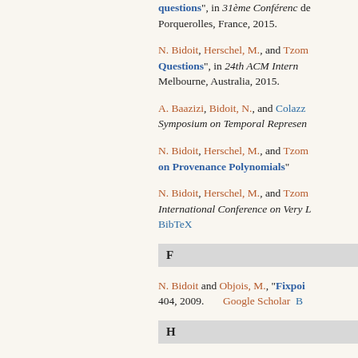questions", in 31ème Conférence de Porquerolles, France, 2015.
N. Bidoit, Herschel, M., and Tzom... Questions", in 24th ACM International... Melbourne, Australia, 2015.
A. Baazizi, Bidoit, N., and Colazz... Symposium on Temporal Represen...
N. Bidoit, Herschel, M., and Tzom... on Provenance Polynomials"...
N. Bidoit, Herschel, M., and Tzom... International Conference on Very L... BibTeX
F
N. Bidoit and Objois, M., "Fixpoi... 404, 2009.   Google Scholar   B...
H